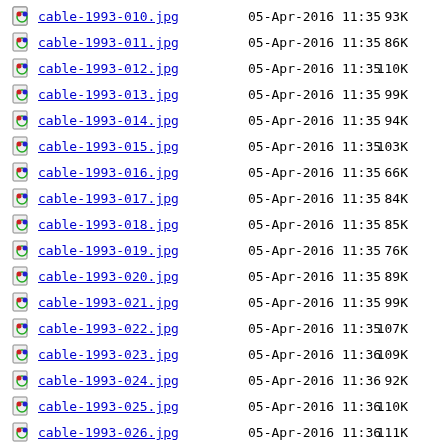cable-1993-010.jpg  05-Apr-2016 11:35  93K
cable-1993-011.jpg  05-Apr-2016 11:35  86K
cable-1993-012.jpg  05-Apr-2016 11:35  110K
cable-1993-013.jpg  05-Apr-2016 11:35  99K
cable-1993-014.jpg  05-Apr-2016 11:35  94K
cable-1993-015.jpg  05-Apr-2016 11:35  103K
cable-1993-016.jpg  05-Apr-2016 11:35  66K
cable-1993-017.jpg  05-Apr-2016 11:35  84K
cable-1993-018.jpg  05-Apr-2016 11:35  85K
cable-1993-019.jpg  05-Apr-2016 11:35  76K
cable-1993-020.jpg  05-Apr-2016 11:35  89K
cable-1993-021.jpg  05-Apr-2016 11:35  99K
cable-1993-022.jpg  05-Apr-2016 11:35  107K
cable-1993-023.jpg  05-Apr-2016 11:36  109K
cable-1993-024.jpg  05-Apr-2016 11:36  92K
cable-1993-025.jpg  05-Apr-2016 11:36  110K
cable-1993-026.jpg  05-Apr-2016 11:36  111K